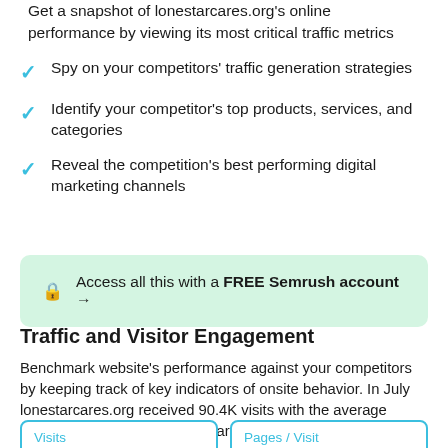Get a snapshot of lonestarcares.org's online performance by viewing its most critical traffic metrics
Spy on your competitors' traffic generation strategies
Identify your competitor's top products, services, and categories
Reveal the competition's best performing digital marketing channels
Access all this with a FREE Semrush account →
Traffic and Visitor Engagement
Benchmark website's performance against your competitors by keeping track of key indicators of onsite behavior. In July lonestarcares.org received 90.4K visits with the average session duration 04:27. Compared to June traffic to lonestarcares.org has decreased by -12.5%.
Visits
90.4K  -12.5%
Pages / Visit
2.1